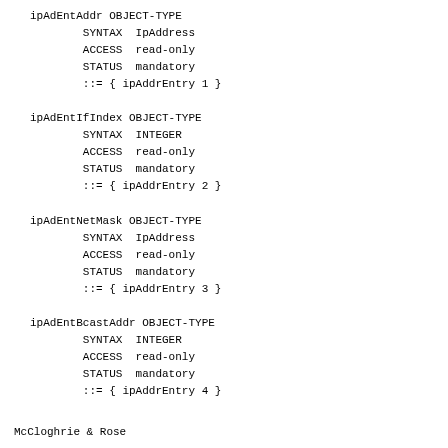ipAdEntAddr OBJECT-TYPE
        SYNTAX  IpAddress
        ACCESS  read-only
        STATUS  mandatory
        ::= { ipAddrEntry 1 }

ipAdEntIfIndex OBJECT-TYPE
        SYNTAX  INTEGER
        ACCESS  read-only
        STATUS  mandatory
        ::= { ipAddrEntry 2 }

ipAdEntNetMask OBJECT-TYPE
        SYNTAX  IpAddress
        ACCESS  read-only
        STATUS  mandatory
        ::= { ipAddrEntry 3 }

ipAdEntBcastAddr OBJECT-TYPE
        SYNTAX  INTEGER
        ACCESS  read-only
        STATUS  mandatory
        ::= { ipAddrEntry 4 }
McCloghrie & Rose